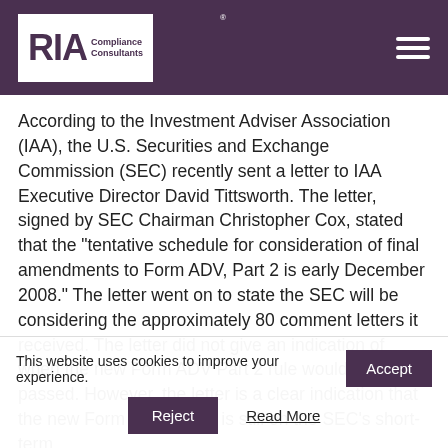RIA Compliance Consultants
According to the Investment Adviser Association (IAA), the U.S. Securities and Exchange Commission (SEC) recently sent a letter to IAA Executive Director David Tittsworth. The letter, signed by SEC Chairman Christopher Cox, stated that the "tentative schedule for consideration of final amendments to Form ADV, Part 2 is early December 2008." The letter went on to state the SEC will be considering the approximately 80 comment letters it received. The letter did not give an indication of when the new Form ADV Part 2 rule would be passed. However, the letter is a clear indication that the new Form ADV Part 2 is still on the SEC's short-term
This website uses cookies to improve your experience.
Accept
Reject
Read More